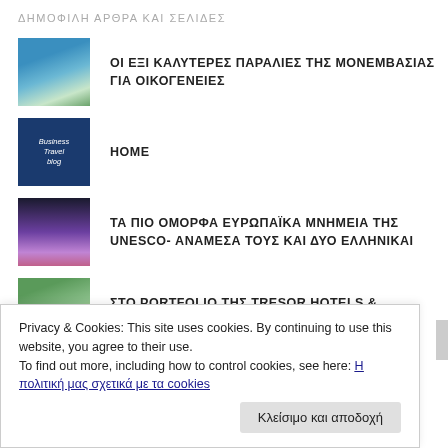ΔΗΜΟΦΙΛΗ ΑΡΘΡΑ ΚΑΙ ΣΕΛΙΔΕΣ
ΟΙ ΕΞΙ ΚΑΛΥΤΕΡΕΣ ΠΑΡΑΛΙΕΣ ΤΗΣ ΜΟΝΕΜΒΑΣΙΑΣ ΓΙΑ ΟΙΚΟΓΕΝΕΙΕΣ
HOME
ΤΑ ΠΙΟ ΟΜΟΡΦΑ ΕΥΡΩΠΑΪΚΑ ΜΝΗΜΕΙΑ ΤΗΣ UNESCO- ΑΝΑΜΕΣΑ ΤΟΥΣ ΚΑΙ ΔΥΟ ΕΛΛΗΝΙΚΑΙ
ΣΤΟ PORTFOLIO ΤΗΣ TRESOR HOTELS & RESORTS ΤΟ VALENI BOUTIQUE HOTEL ΣΤΟ
Privacy & Cookies: This site uses cookies. By continuing to use this website, you agree to their use.
To find out more, including how to control cookies, see here: Η πολιτική μας σχετικά με τα cookies
Κλείσιμο και αποδοχή